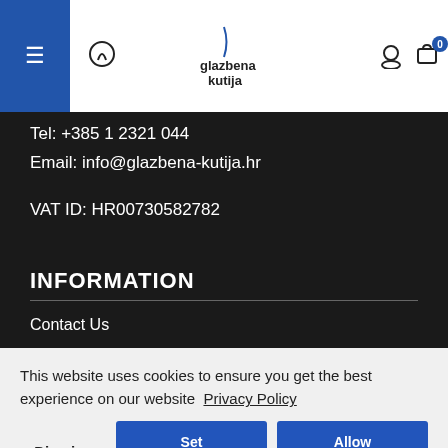[Figure (screenshot): Website navigation bar with hamburger menu, search icon, glazbena kutija logo, user icon, and cart with badge showing 0]
Tel: +385 1 2321 044
Email: info@glazbena-kutija.hr
VAT ID: HR00730582782
INFORMATION
Contact Us
This website uses cookies to ensure you get the best experience on our website  Privacy Policy
Dismiss
Set Prefrences
Allow Cookies
FAQ